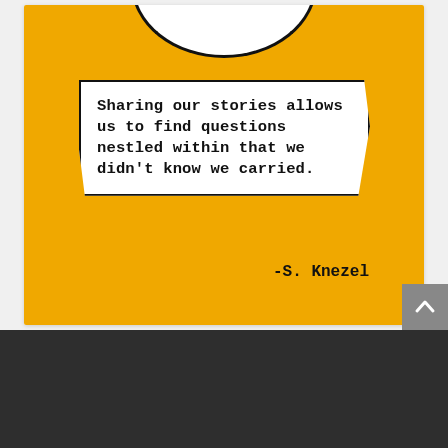[Figure (illustration): An illustration on an orange/yellow background with a white speech bubble containing a quote. At the top, a partial face (smiley) is visible. The speech bubble reads: 'Sharing our stories allows us to find questions nestled within that we didn't know we carried.' Attributed to -S. Knezel.]
RECENT NEWS
Reggie Jackson: What you don't know about